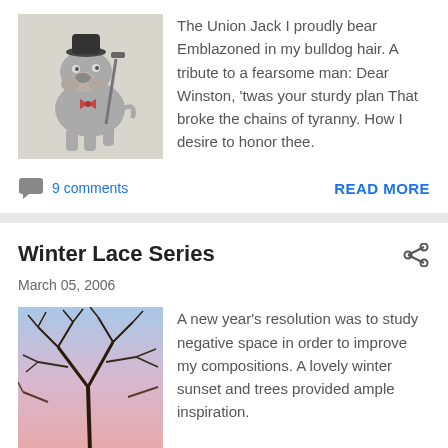[Figure (illustration): Drawing of a bulldog wearing a bowler hat and holding a staff, rendered in pencil/grey tones]
The Union Jack I proudly bear Emblazoned in my bulldog hair. A tribute to a fearsome man: Dear Winston, 'twas your sturdy plan That broke the chains of tyranny. How I desire to honor thee.
9 comments
READ MORE
Winter Lace Series
March 05, 2006
[Figure (illustration): Watercolor painting of bare winter tree branches against a pink and blue sunset sky]
A new year's resolution was to study negative space in order to improve my compositions. A lovely winter sunset and trees provided ample inspiration.